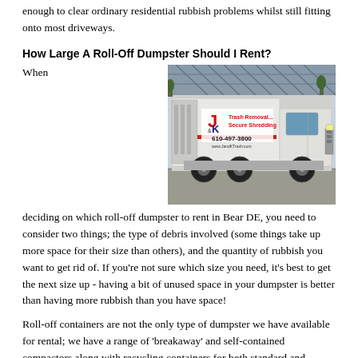enough to clear ordinary residential rubbish problems whilst still fitting onto most driveways.
How Large A Roll-Off Dumpster Should I Rent?
[Figure (photo): A white J&K Trash Removal and Secure Shredding garbage truck parked in a lot, with the phone number 610-497-3800 and website www.JandKTrash.com displayed on the side.]
When deciding on which roll-off dumpster to rent in Bear DE, you need to consider two things; the type of debris involved (some things take up more space for their size than others), and the quantity of rubbish you want to get rid of. If you're not sure which size you need, it's best to get the next size up - having a bit of unused space in your dumpster is better than having more rubbish than you have space!
Roll-off containers are not the only type of dumpster we have available for rental; we have a range of 'breakaway' and self-contained compactors along with recycling containers for both standard and specialized requirements.